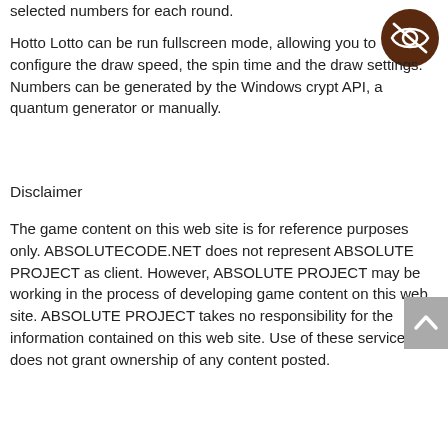selected numbers for each round.
[Figure (illustration): Dark brown circular icon with an eye with a slash through it (hidden/private icon)]
Hotto Lotto can be run fullscreen mode, allowing you to configure the draw speed, the spin time and the draw settings. Numbers can be generated by the Windows crypt API, a quantum generator or manually.
Disclaimer
The game content on this web site is for reference purposes only. ABSOLUTECODE.NET does not represent ABSOLUTE PROJECT as client. However, ABSOLUTE PROJECT may be working in the process of developing game content on this web site. ABSOLUTE PROJECT takes no responsibility for the information contained on this web site. Use of these services does not grant ownership of any content posted.
[Figure (other): Grey scroll-to-top button with upward chevron arrow]